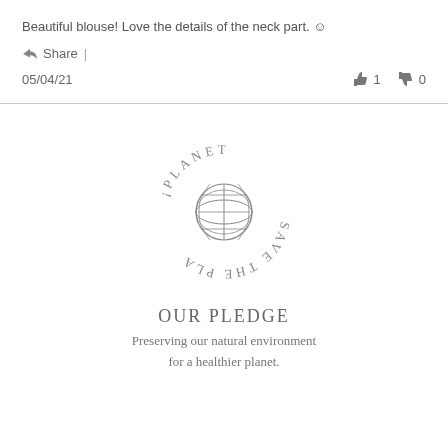Beautiful blouse! Love the details of the neck part. ☺
Share |
05/04/21   👍 1  👎 0
[Figure (logo): Circular badge logo with globe in center and text reading SAVE THE PLANET arranged around it]
OUR PLEDGE
Preserving our natural environment for a healthier planet.